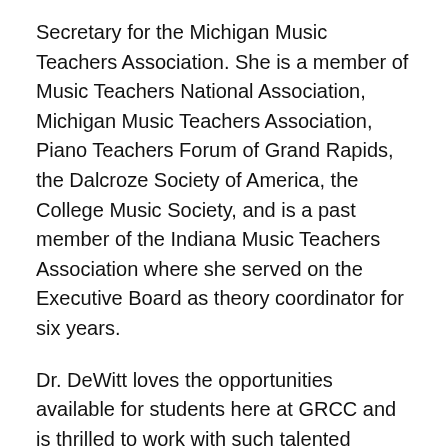Secretary for the Michigan Music Teachers Association. She is a member of Music Teachers National Association, Michigan Music Teachers Association, Piano Teachers Forum of Grand Rapids, the Dalcroze Society of America, the College Music Society, and is a past member of the Indiana Music Teachers Association where she served on the Executive Board as theory coordinator for six years.
Dr. DeWitt loves the opportunities available for students here at GRCC and is thrilled to work with such talented students and to work alongside such an amazing faculty.
What do you like best about teaching at GRCC?